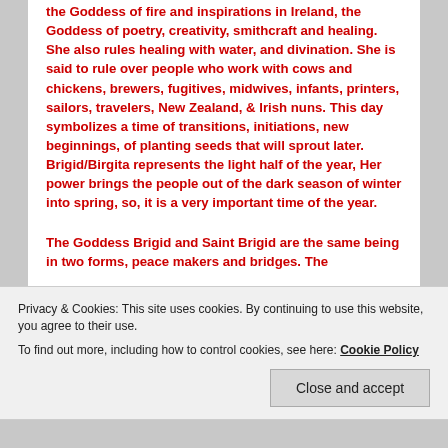the Goddess of fire and inspirations in Ireland, the Goddess of poetry, creativity, smithcraft and healing. She also rules healing with water, and divination. She is said to rule over people who work with cows and chickens, brewers, fugitives, midwives, infants, printers, sailors, travelers, New Zealand, & Irish nuns. This day symbolizes a time of transitions, initiations, new beginnings, of planting seeds that will sprout later. Brigid/Birgita represents the light half of the year, Her power brings the people out of the dark season of winter into spring, so, it is a very important time of the year.
The Goddess Brigid and Saint Brigid are the same being in two forms, peace makers and bridges. The
Privacy & Cookies: This site uses cookies. By continuing to use this website, you agree to their use.
To find out more, including how to control cookies, see here: Cookie Policy
Close and accept